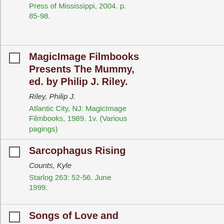Press of Mississippi, 2004. p. 85-98.
MagicImage Filmbooks Presents The Mummy, ed. by Philip J. Riley.
Riley, Philip J.
Atlantic City, NJ: MagicImage Filmbooks, 1989. 1v. (Various pagings)
Sarcophagus Rising
Counts, Kyle
Starlog 263: 52-56. June 1999.
Songs of Love and